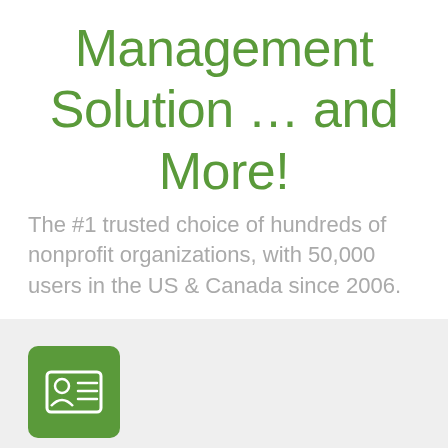Management Solution ... and More!
The #1 trusted choice of hundreds of nonprofit organizations, with 50,000 users in the US & Canada since 2006.
[Figure (illustration): Green rounded square icon containing a white ID card/contact card symbol with a person silhouette and horizontal lines representing text fields]